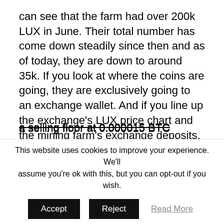can see that the farm had over 200k LUX in June. Their total number has come down steadily since then and as of today, they are down to around 35k. If you look at where the coins are going, they are exclusively going to an exchange wallet. And if you line up the exchange's LUX price chart and the mining farm's exchange deposits, it explains the market pressure that this coin has been under. If you look through the trading history on Coinbene specifically, you can even see that the mining farm has, so far at least, put a selling floor at 0.000015 BTC
This website uses cookies to improve your experience. We'll assume you're ok with this, but you can opt-out if you wish.